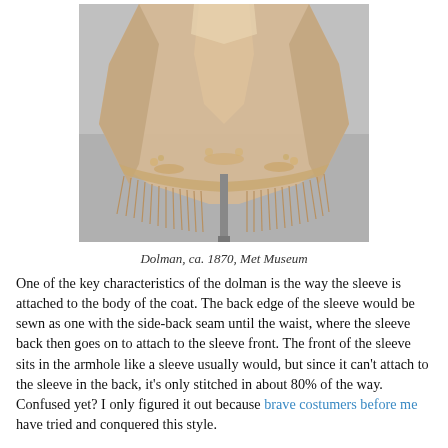[Figure (photo): A dolman garment from ca. 1870, displayed on a stand against a grey background. The garment is pale pink/champagne silk with elaborate embroidery and long fringe trim along the hemline.]
Dolman, ca. 1870, Met Museum
One of the key characteristics of the dolman is the way the sleeve is attached to the body of the coat. The back edge of the sleeve would be sewn as one with the side-back seam until the waist, where the sleeve back then goes on to attach to the sleeve front. The front of the sleeve sits in the armhole like a sleeve usually would, but since it can't attach to the sleeve in the back, it's only stitched in about 80% of the way. Confused yet? I only figured it out because brave costumers before me have tried and conquered this style.